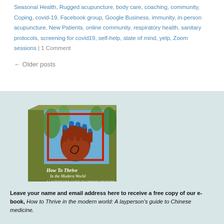Seasonal Health, Rugged acupuncture, body care, coaching, community, Coping, covid-19, Facebook group, Google Business, immunity, in-person acupuncture, New Patients, online community, respiratory health, sanitary protocols, screening for covid19, self-help, state of mind, yelp, Zoom sessions | 1 Comment
← Older posts
[Figure (photo): Book cover image of 'How To Thrive In the Modern World: A Layperson's Guide to Chinese Medicine', shown as a 3D tilted paperback with a painted hand artwork on an olive green cover.]
Leave your name and email address here to receive a free copy of our e-book, How to Thrive in the modern world: A layperson's guide to Chinese medicine.